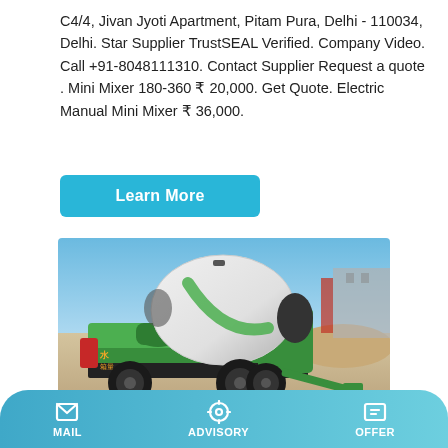C4/4, Jivan Jyoti Apartment, Pitam Pura, Delhi - 110034, Delhi. Star Supplier TrustSEAL Verified. Company Video. Call +91-8048111310. Contact Supplier Request a quote . Mini Mixer 180-360 ₹ 20,000. Get Quote. Electric Manual Mini Mixer ₹ 36,000.
Learn More
[Figure (photo): Green self-loading concrete mixer truck parked on a dirt/sand surface with blue sky and warehouse building in background. The vehicle is heavy-duty with large black tires, a rotating white drum with green accents, and a green chassis with Chinese characters on the side.]
MAIL   ADVISORY   OFFER